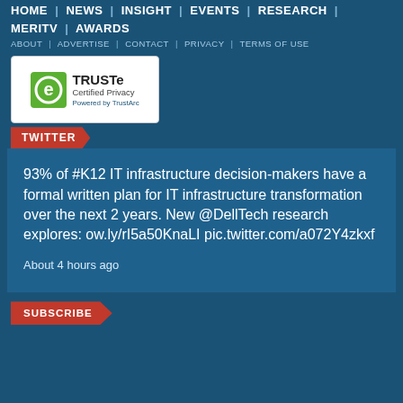HOME | NEWS | INSIGHT | EVENTS | RESEARCH | MERITV | AWARDS
ABOUT | ADVERTISE | CONTACT | PRIVACY | TERMS OF USE
[Figure (logo): TRUSTe Certified Privacy Powered by TrustArc badge]
TWITTER
93% of #K12 IT infrastructure decision-makers have a formal written plan for IT infrastructure transformation over the next 2 years. New @DellTech research explores: ow.ly/rI5a50KnaLI pic.twitter.com/a072Y4zkxf
About 4 hours ago
SUBSCRIBE